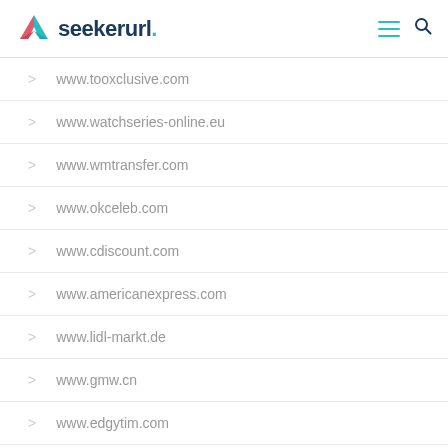seekerurl.
www.tooxclusive.com
www.watchseries-online.eu
www.wmtransfer.com
www.okceleb.com
www.cdiscount.com
www.americanexpress.com
www.lidl-markt.de
www.gmw.cn
www.edgytim.com
www.wdmc.org